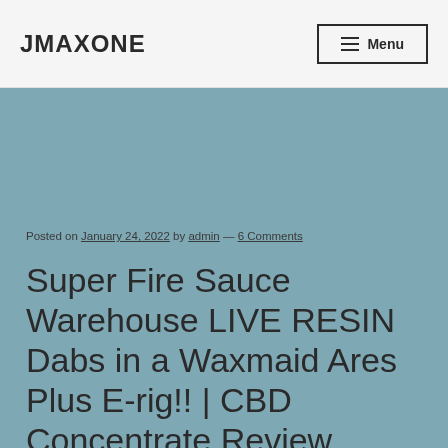JMAXONE
Posted on January 24, 2022 by admin — 6 Comments
Super Fire Sauce Warehouse LIVE RESIN Dabs in a Waxmaid Ares Plus E-rig!! | CBD Concentrate Review